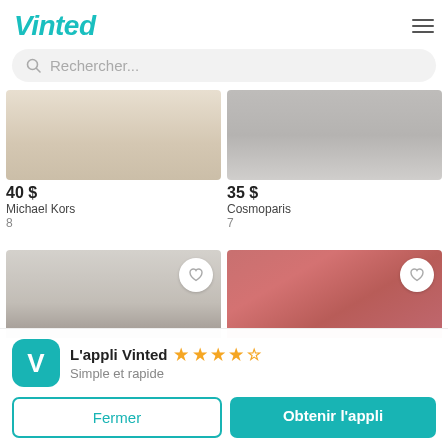[Figure (logo): Vinted teal logo text]
Rechercher...
[Figure (photo): Top portion of a Michael Kors item – light wood floor texture]
[Figure (photo): Top portion of a Cosmoparis item – grey background with metal object]
40 $
Michael Kors
8
35 $
Cosmoparis
7
[Figure (photo): Bottom product card left – grey background with dark shoe detail]
[Figure (photo): Bottom product card right – pink/red ballet flats on wooden deck]
L'appli Vinted ★★★★½
Simple et rapide
Fermer
Obtenir l'appli